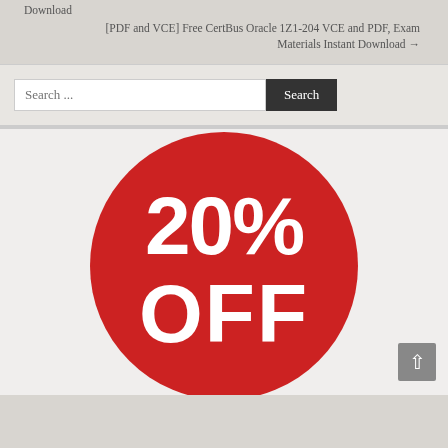Download
[PDF and VCE] Free CertBus Oracle 1Z1-204 VCE and PDF, Exam Materials Instant Download →
[Figure (other): Search bar with text input labeled 'Search ...' and a dark 'Search' button]
[Figure (infographic): Red circle with white bold text reading '20% OFF']